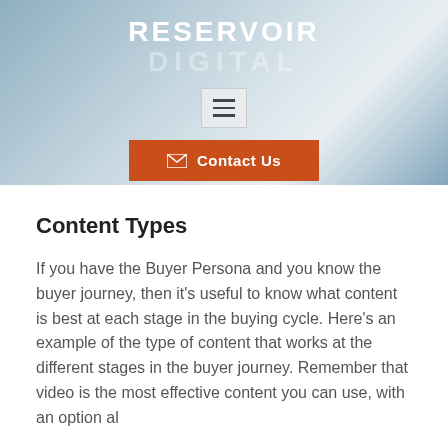[Figure (logo): Reservoir Digital logo with RESERVOIR in white bold text and DIGITAL in semi-transparent white text below it, on a blue-grey gradient background, with a hamburger menu button and an orange Contact Us button]
Content Types
If you have the Buyer Persona and you know the buyer journey, then it’s useful to know what content is best at each stage in the buying cycle. Here’s an example of the type of content that works at the different stages in the buyer journey. Remember that video is the most effective content you can use, with an option al...